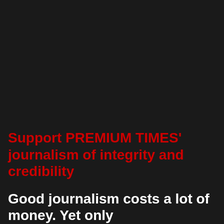Support PREMIUM TIMES' journalism of integrity and credibility
Good journalism costs a lot of money. Yet only